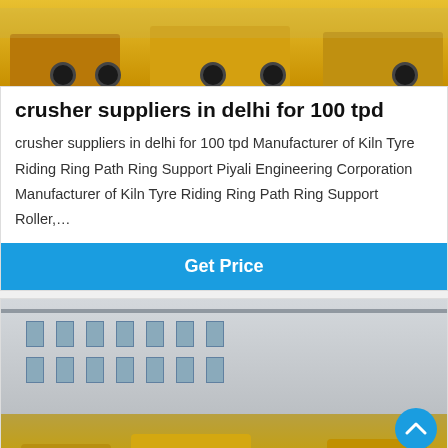[Figure (photo): Yellow construction/crusher machinery and trucks on a road, top view]
crusher suppliers in delhi for 100 tpd
crusher suppliers in delhi for 100 tpd Manufacturer of Kiln Tyre Riding Ring Path Ring Support Piyali Engineering Corporation Manufacturer of Kiln Tyre Riding Ring Path Ring Support Roller,…
Get Price
[Figure (photo): Industrial building exterior with yellow crusher machinery in foreground, grayscale background]
Leave Message
Chat Online